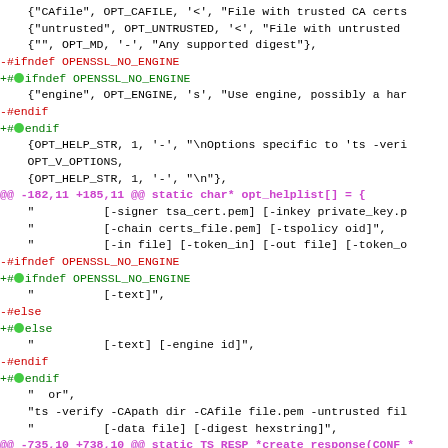[Figure (screenshot): A unified diff of source code changes in a C file related to OpenSSL ts_options and opt_helplist arrays, showing hunk headers in purple, removed lines in red, and added lines in green with colored dot markers.]